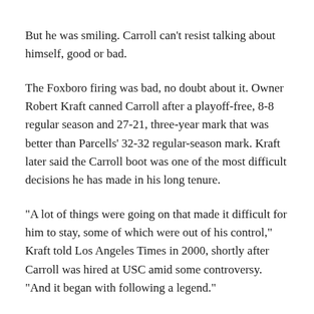But he was smiling. Carroll can't resist talking about himself, good or bad.
The Foxboro firing was bad, no doubt about it. Owner Robert Kraft canned Carroll after a playoff-free, 8-8 regular season and 27-21, three-year mark that was better than Parcells' 32-32 regular-season mark. Kraft later said the Carroll boot was one of the most difficult decisions he has made in his long tenure.
“A lot of things were going on that made it difficult for him to stay, some of which were out of his control,” Kraft told Los Angeles Times in 2000, shortly after Carroll was hired at USC amid some controversy. “And it began with following a legend.”